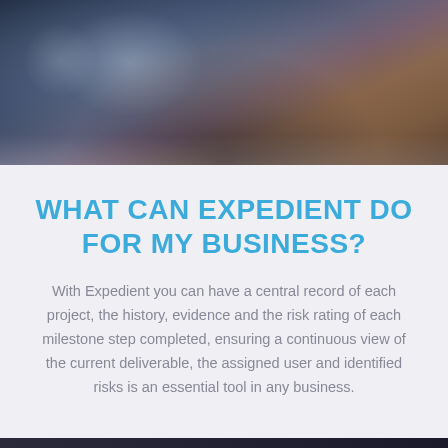[Figure (photo): Dark moody photo of a person working at a desk, with dark blue and brown tones, partially visible hands and fabric]
WHAT CAN EXPEDIENT DO FOR MY BUSINESS?
With Expedient you can have a central record of each project, the history, evidence and the risk rating of each milestone step completed, ensuring a continuous view of the current deliverable, the assigned user and identified risks is an essential tool in any business.